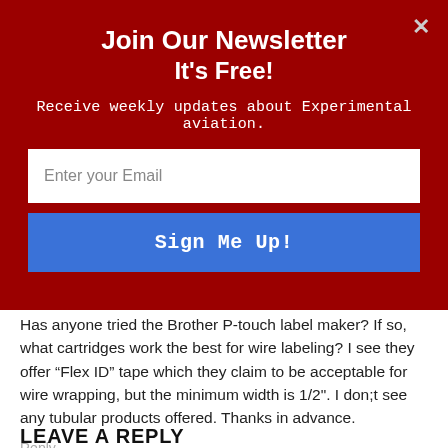Join Our Newsletter
It's Free!
Receive weekly updates about Experimental aviation.
Enter your Email
Sign Me Up!
Has anyone tried the Brother P-touch label maker? If so, what cartridges work the best for wire labeling? I see they offer “Flex ID” tape which they claim to be acceptable for wire wrapping, but the minimum width is 1/2". I don;t see any tubular products offered. Thanks in advance.
Reply
LEAVE A REPLY